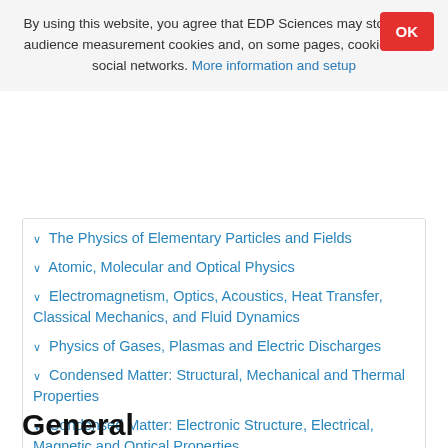By using this website, you agree that EDP Sciences may store web audience measurement cookies and, on some pages, cookies from social networks. More information and setup
The Physics of Elementary Particles and Fields
Atomic, Molecular and Optical Physics
Electromagnetism, Optics, Acoustics, Heat Transfer, Classical Mechanics, and Fluid Dynamics
Physics of Gases, Plasmas and Electric Discharges
Condensed Matter: Structural, Mechanical and Thermal Properties
Condensed Matter: Electronic Structure, Electrical, Magnetic and Optical Properties
Interdisciplinary Physics and Related Areas of Science and Technology
Geophysics, Astronomy and Astrophysics
General